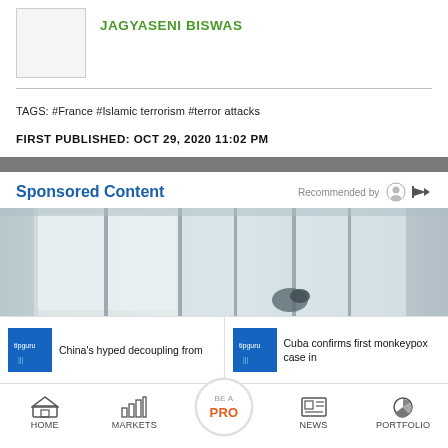JAGYASENI BISWAS
TAGS: #France #Islamic terrorism #terror attacks
FIRST PUBLISHED: OCT 29, 2020 11:02 PM
Sponsored Content
Recommended by
[Figure (photo): Indoor photo with window and light]
China's hyped decoupling from
Cuba confirms first monkeypox case in
HOME  MARKETS  BE A PRO  NEWS  PORTFOLIO